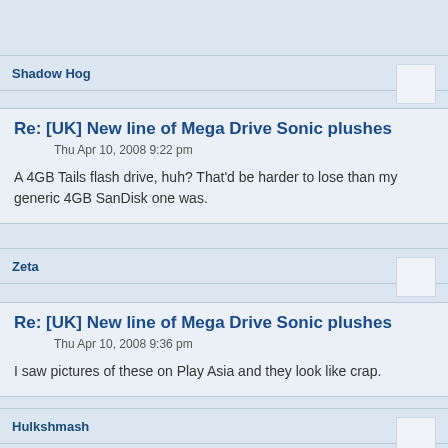Shadow Hog
Re: [UK] New line of Mega Drive Sonic plushes
Thu Apr 10, 2008 9:22 pm
A 4GB Tails flash drive, huh? That'd be harder to lose than my generic 4GB SanDisk one was.
Zeta
Re: [UK] New line of Mega Drive Sonic plushes
Thu Apr 10, 2008 9:36 pm
I saw pictures of these on Play Asia and they look like crap.
Hulkshmash
Re: [UK] New line of Mega Drive Sonic plushes